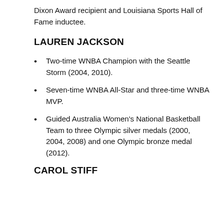Dixon Award recipient and Louisiana Sports Hall of Fame inductee.
LAUREN JACKSON
Two-time WNBA Champion with the Seattle Storm (2004, 2010).
Seven-time WNBA All-Star and three-time WNBA MVP.
Guided Australia Women's National Basketball Team to three Olympic silver medals (2000, 2004, 2008) and one Olympic bronze medal (2012).
CAROL STIFF